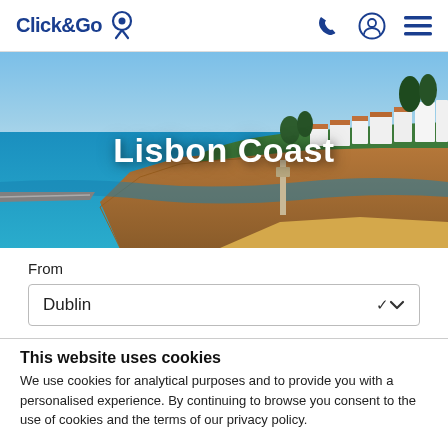Click&Go [logo] [phone icon] [user icon] [menu icon]
[Figure (photo): Coastal scene with cliffs, turquoise sea, sandy beach, and white buildings on clifftop, Lisbon Coast]
Lisbon Coast
From
Dublin
This website uses cookies
We use cookies for analytical purposes and to provide you with a personalised experience. By continuing to browse you consent to the use of cookies and the terms of our privacy policy.